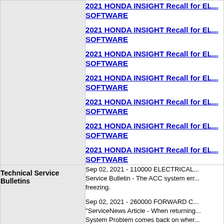|  |  |
| --- | --- |
|  | 2021 HONDA INSIGHT Recall for EL... SOFTWARE
2021 HONDA INSIGHT Recall for EL... SOFTWARE
2021 HONDA INSIGHT Recall for EL... SOFTWARE
2021 HONDA INSIGHT Recall for EL... SOFTWARE
2021 HONDA INSIGHT Recall for EL... SOFTWARE
2021 HONDA INSIGHT Recall for EL... SOFTWARE
2021 HONDA INSIGHT Recall for EL... SOFTWARE |
| Technical Service Bulletins | Sep 02, 2021 - 110000 ELECTRICAL... Service Bulletin - The ACC system err... freezing.

Sep 02, 2021 - 260000 FORWARD C... "ServiceNews Article - When returning... System Problem comes back on wher... |